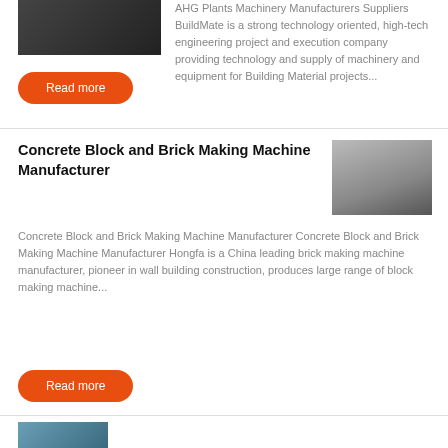[Figure (photo): Industrial machinery photo, dark tones]
AHG Plants Machinery Manufacturers Suppliers BuildMate is a strong technology oriented, high-tech engineering project and execution company providing technology and supply of machinery and equipment for Building Material projects...
Read more
Concrete Block and Brick Making Machine Manufacturer
[Figure (photo): Industrial factory/silo exterior photo]
Concrete Block and Brick Making Machine Manufacturer Concrete Block and Brick Making Machine Manufacturer Hongfa is a China leading brick making machine manufacturer, pioneer in wall building construction, produces large range of block making machine...
Read more
[Figure (photo): Partial photo at bottom, blue tones, brick machine in Building...]